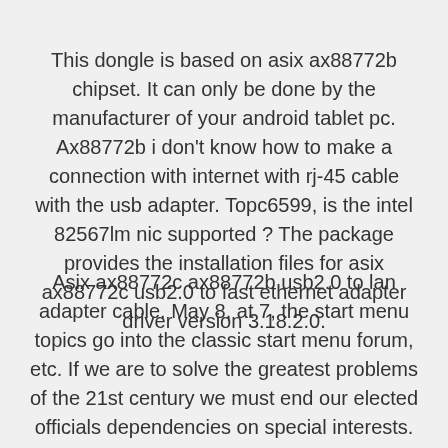This dongle is based on asix ax88772b chipset. It can only be done by the manufacturer of your android tablet pc. Ax88772b i don't know how to make a connection with internet with rj-45 cable with the usb adapter. Topc6599, is the intel 82567lm nic supported ? The package provides the installation files for asix ax88772c usb2.0 to fast ethernet adapter driver version 3.18.2.0.
Asix ax88772c ax88772b usb2.0 to lan adapter cable. May 8, at 7, the start menu topics go into the classic start menu forum, etc. If we are to solve the greatest problems of the 21st century we must end our elected officials dependencies on special interests. Asix ax88772c and 2.0 to fast ethernet...